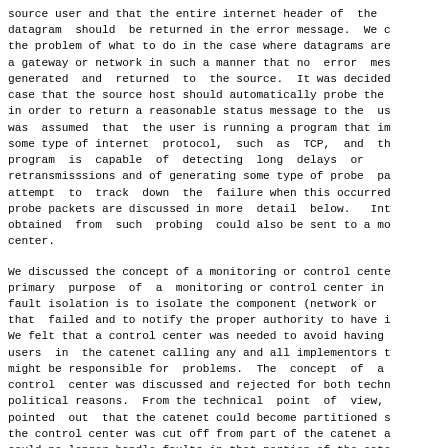source user and that the entire internet header of the datagram should be returned in the error message. We considered the problem of what to do in the case where datagrams are lost at a gateway or network in such a manner that no error message is generated and returned to the source. It was decided in this case that the source host should automatically probe the network in order to return a reasonable status message to the user. It was assumed that the user is running a program that implements some type of internet protocol, such as TCP, and that the program is capable of detecting long delays or excessive retransmisssions and of generating some type of probe packet to attempt to track down the failure when this occurred. These probe packets are discussed in more detail below. Information obtained from such probing could also be sent to a monitoring center.
We discussed the concept of a monitoring or control center. The primary purpose of a monitoring or control center in network fault isolation is to isolate the component (network or gateway) that failed and to notify the proper authority to have it fixed. We felt that a control center was needed to avoid having individual users in the catenet calling any and all implementors that might be responsible for problems. The concept of a single control center was discussed and rejected for both technical and political reasons. From the technical point of view, it was pointed out that the catenet could become partitioned so that the control center was cut off from part of the catenet and could no longer handle faults in that portion of the catenet. On the political side, it was pointed out that organizations responsible for the individual networks may be unwilling to surrender control to an organization they consider outside